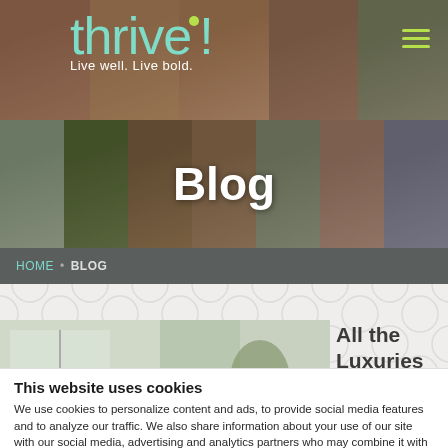[Figure (screenshot): Hero header with grid of diverse faces/people photos, 'thrive!' logo in teal with tagline 'Live well. Live bold.' and hamburger menu icon]
Blog
HOME • BLOG
[Figure (photo): Partial view of blog post card with interior/plant image and text 'All the Luxuries of']
This website uses cookies
We use cookies to personalize content and ads, to provide social media features and to analyze our traffic. We also share information about your use of our site with our social media, advertising and analytics partners who may combine it with other information that you've provided to them or that they...